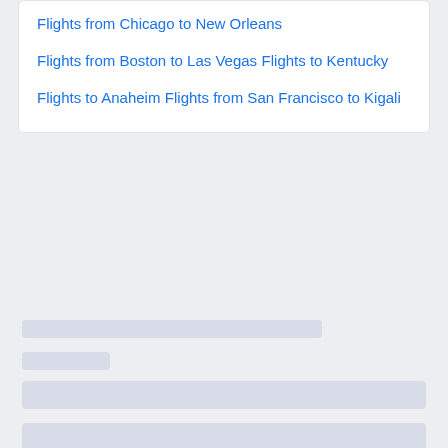Flights from Chicago to New Orleans
Flights from Boston to Las Vegas
Flights to Kentucky
Flights to Anaheim
Flights from San Francisco to Kigali